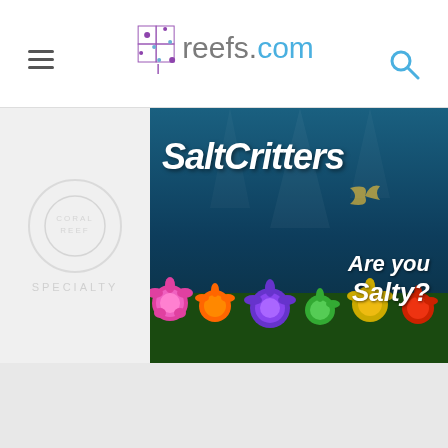reefs.com
[Figure (logo): reefs.com website logo with grid/diamond icon in purple/blue and text 'reefs.com' in gray and blue]
[Figure (illustration): SaltCritters advertisement banner with dark blue underwater background, colorful coral, text 'SaltCritters' and 'Are You Salty?']
[Figure (photo): Partially visible specialty aquarium store advertisement on the left side with faded circular logo and 'SPECIALTY' text]